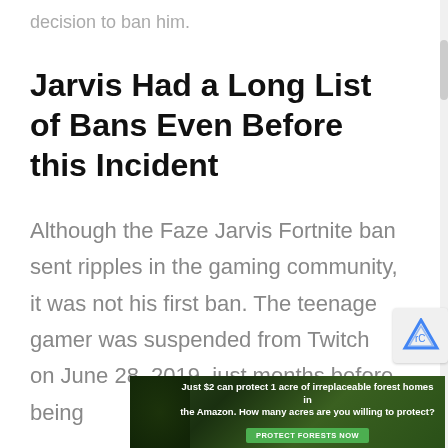decision to ban him.
Jarvis Had a Long List of Bans Even Before this Incident
Although the Faze Jarvis Fortnite ban sent ripples in the gaming community, it was not his first ban. The teenage gamer was suspended from Twitch on June 28, 2019, just months before being
[Figure (other): Advertisement banner: 'Just $2 can protect 1 acre of irreplaceable forest homes in the Amazon. How many acres are you willing to protect?' with a green Protect Forests Now button, overlaid on a forest background image.]